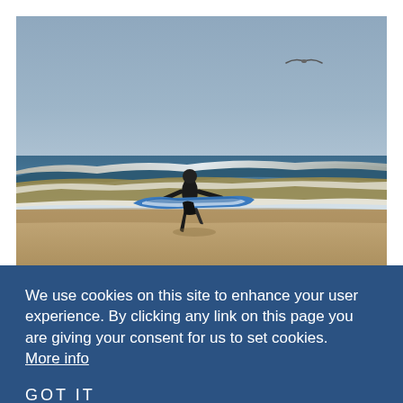[Figure (photo): A surfer carrying a blue and white surfboard walking into ocean waves on a beach. A seagull flies in the upper right of a pale gray-blue sky. Waves with white foam crash in the background.]
We use cookies on this site to enhance your user experience. By clicking any link on this page you are giving your consent for us to set cookies. More info
GOT IT